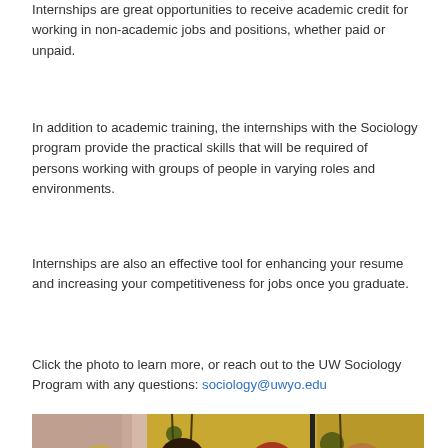Internships are great opportunities to receive academic credit for working in non-academic jobs and positions, whether paid or unpaid.
In addition to academic training, the internships with the Sociology program provide the practical skills that will be required of persons working with groups of people in varying roles and environments.
Internships are also an effective tool for enhancing your resume and increasing your competitiveness for jobs once you graduate.
Click the photo to learn more, or reach out to the UW Sociology Program with any questions: sociology@uwyo.edu
[Figure (photo): Four young women standing together indoors in front of a decorative panel with botanical/plant artwork. They are smiling and dressed in casual to semi-formal attire.]